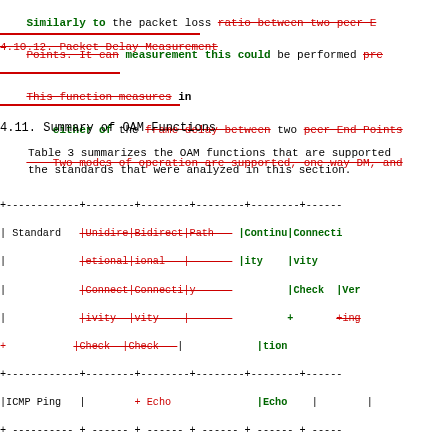Similarly to the packet loss ratio between two peer End Points. It can measurement this could be performed pre-
4.10.12. Packet Delay Measurement
This function measures in either of the frame delay between two peer End Points Two modes of operation are supported, one way DM, and
4.11. Summary of OAM Functions
Table 3 summarizes the OAM functions that are supported the standards that were analyzed in this section.
| Standard | Unidirectional Connectivity Check | Bidirectional Connectivity Check | Path Connectivity Check | Continuity Check | Connectivity Verification |
| --- | --- | --- | --- | --- | --- |
| ICMP Ping |  | Echo | Echo |  |  |
| BFD | BFD Control | BFD Echo |  |  |  |
| LSP Ping |  | "Ping" mode | "Traceroute" mode |  |  |